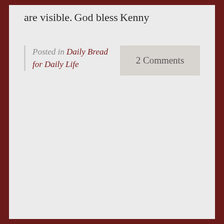are visible.
God bless
Kenny
Posted in Daily Bread for Daily Life
2 Comments